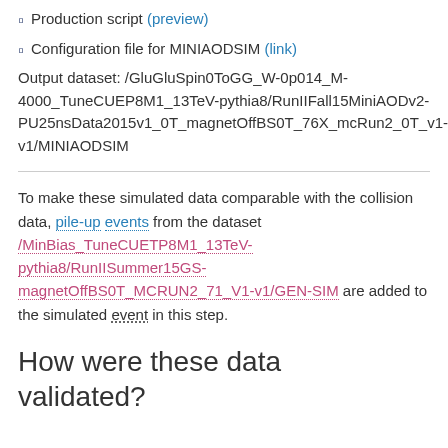Production script (preview)
Configuration file for MINIAODSIM (link)
Output dataset: /GluGluSpin0ToGG_W-0p014_M-4000_TuneCUEP8M1_13TeV-pythia8/RunIIFall15MiniAODv2-PU25nsData2015v1_0T_magnetOffBS0T_76X_mcRun2_0T_v1-v1/MINIAODSIM
To make these simulated data comparable with the collision data, pile-up events from the dataset /MinBias_TuneCUETP8M1_13TeV-pythia8/RunIISummer15GS-magnetOffBS0T_MCRUN2_71_V1-v1/GEN-SIM are added to the simulated event in this step.
How were these data validated?